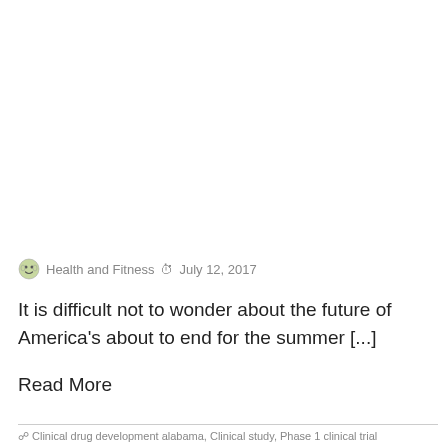Health and Fitness  July 12, 2017
It is difficult not to wonder about the future of America's about to end for the summer [...]
Read More
Clinical drug development alabama, Clinical study, Phase 1 clinical trial